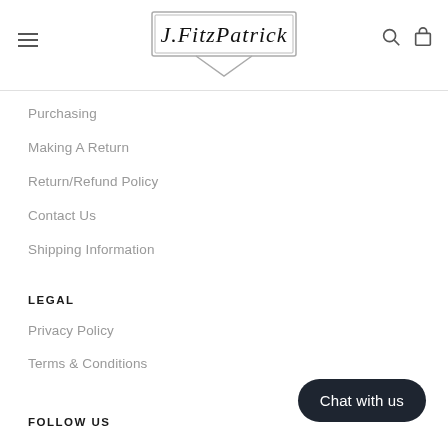J.FitzPatrick
Purchasing
Making A Return
Return/Refund Policy
Contact Us
Shipping Information
LEGAL
Privacy Policy
Terms & Conditions
FOLLOW US
Chat with us